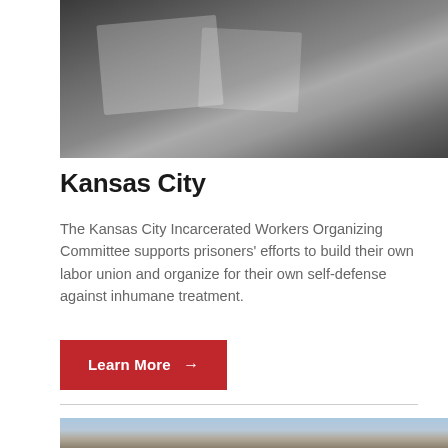[Figure (photo): People sitting around a table with papers and documents, photographed from above]
Kansas City
The Kansas City Incarcerated Workers Organizing Committee supports prisoners' efforts to build their own labor union and organize for their own self-defense against inhumane treatment.
Learn More →
[Figure (photo): Bottom portion of a building exterior with blue sky visible]